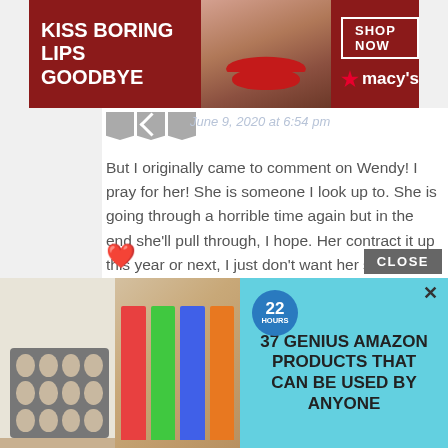[Figure (advertisement): Macy's lipstick ad banner. Text: KISS BORING LIPS GOODBYE, SHOP NOW, macy's logo with star]
June 9, 2020 at 6:54 pm
But I originally came to comment on Wendy! I pray for her! She is someone I look up to. She is going through a horrible time again but in the end she'll pull through, I hope. Her contract it up this year or next, I just don't want her show to be canceled before she can get back on her feet! STAY STRONG WENDY... we really do love you out here!!!❤️?
[Figure (advertisement): 22 Hours badge. 37 GENIUS AMAZON PRODUCTS THAT CAN BE USED BY ANYONE. Images of cookies on a tray and lip balm/lipstick products on a teal background.]